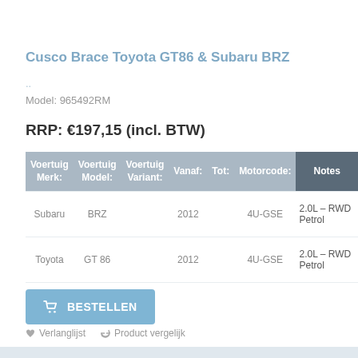Cusco Brace Toyota GT86 & Subaru BRZ
..
Model: 965492RM
RRP: €197,15 (incl. BTW)
| Voertuig Merk: | Voertuig Model: | Voertuig Variant: | Vanaf: | Tot: | Motorcode: | Notes |
| --- | --- | --- | --- | --- | --- | --- |
| Subaru | BRZ |  | 2012 |  | 4U-GSE | 2.0L – RWD Petrol |
| Toyota | GT 86 |  | 2012 |  | 4U-GSE | 2.0L – RWD Petrol |
BESTELLEN
Verlanglijst  Product vergelijk